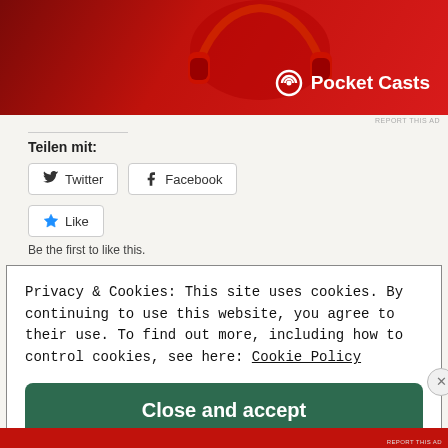[Figure (screenshot): Pocket Casts advertisement banner with red background and headphones image and Pocket Casts logo]
REPORT THIS AD
Teilen mit:
Twitter
Facebook
Like
Be the first to like this.
Privacy & Cookies: This site uses cookies. By continuing to use this website, you agree to their use. To find out more, including how to control cookies, see here: Cookie Policy
Close and accept